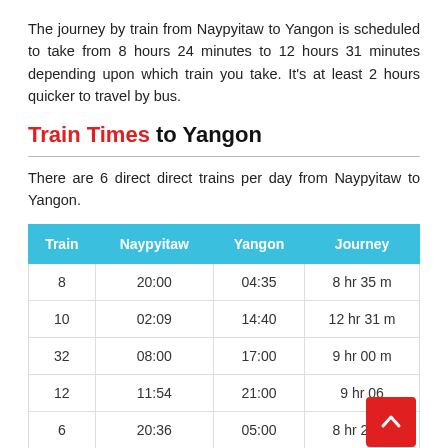The journey by train from Naypyitaw to Yangon is scheduled to take from 8 hours 24 minutes to 12 hours 31 minutes depending upon which train you take. It's at least 2 hours quicker to travel by bus.
Train Times to Yangon
There are 6 direct direct trains per day from Naypyitaw to Yangon.
| Train | Naypyitaw | Yangon | Journey |
| --- | --- | --- | --- |
| 8 | 20:00 | 04:35 | 8 hr 35 m |
| 10 | 02:09 | 14:40 | 12 hr 31 m |
| 32 | 08:00 | 17:00 | 9 hr 00 m |
| 12 | 11:54 | 21:00 | 9 hr 06 |
| 6 | 20:36 | 05:00 | 8 hr 24 m |